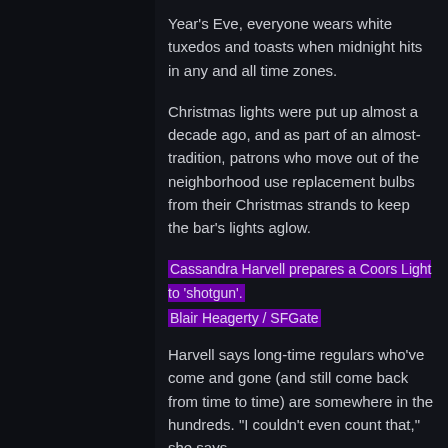Year's Eve, everyone wears white tuxedos and toasts when midnight hits in any and all time zones.
Christmas lights were put up almost a decade ago, and as part of an almost-tradition, patrons who move out of the neighborhood use replacement bulbs from their Christmas strands to keep the bar's lights aglow.
Cassandra Harvell prepares a Coors Light to 'shotgun'.
Blair Heagerty / SFGate
Harvell says long-time regulars who've come and gone (and still come back from time to time) are somewhere in the hundreds. "I couldn't even count that," she says.
Academy Award winner and San Mateo native